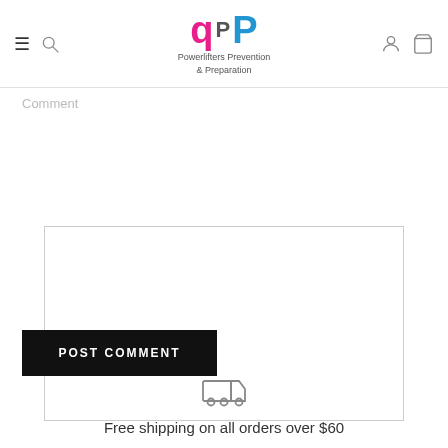Powerlifters Prevention & Preparation — navigation header with logo
Comment
[Figure (screenshot): Empty comment textarea input box]
POST COMMENT
[Figure (illustration): Delivery truck icon]
Free shipping on all orders over $60